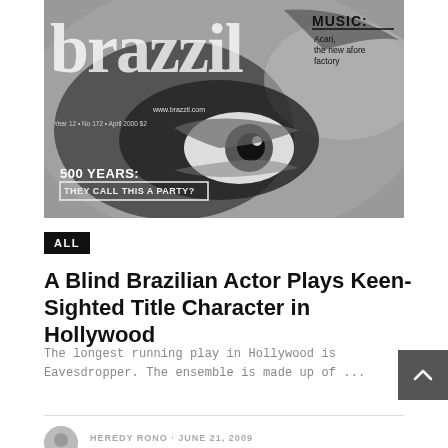[Figure (photo): Black and white magazine cover of 'brazzil' magazine showing a close-up of a person's eye. Text on cover includes: MUSIC: Acari, the new afore factory; 500 YEARS: THEY CALL THIS A PARTY?; Year 12, No 172, April 2000, $2; www.brazzil.com]
ALL
A Blind Brazilian Actor Plays Keen-Sighted Title Character in Hollywood
The longest running play in Hollywood is Eavesdropper. The ensemble is made up of ...
HEREDY RONO · JUNE 21, 2009